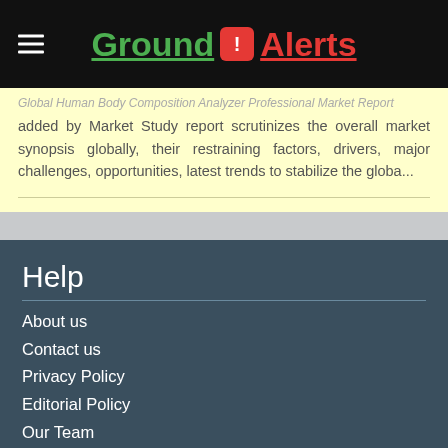Ground Alerts
Global Human Body Composition Analyzer Professional Market Report added by Market Study report scrutinizes the overall market synopsis globally, their restraining factors, drivers, major challenges, opportunities, latest trends to stabilize the globa...
Help
About us
Contact us
Privacy Policy
Editorial Policy
Our Team
Sitemap
Contact Us